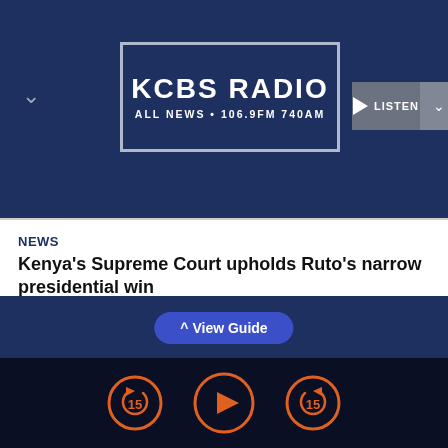[Figure (logo): KCBS Radio logo — ALL NEWS · 106.9FM 740AM in a bordered box on dark navy background]
NEWS
Kenya's Supreme Court upholds Ruto's narrow presidential win
Myanmar's Rohingya minority have died after a storm capsized the boat they were traveling on to seek refuge in another country, officials and a recovery team member said Tuesday.
^ View Guide
[Figure (infographic): Audio player controls: rewind 15s, play, forward 15s buttons in orange on dark navy background]